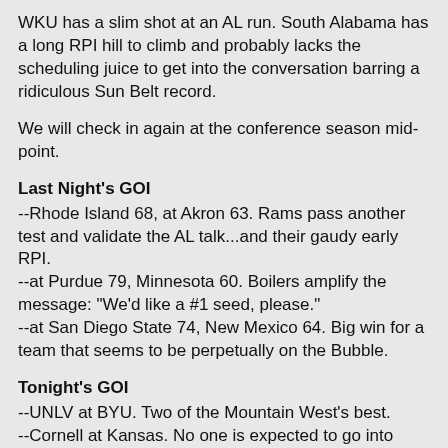WKU has a slim shot at an AL run. South Alabama has a long RPI hill to climb and probably lacks the scheduling juice to get into the conversation barring a ridiculous Sun Belt record.
We will check in again at the conference season mid-point.
Last Night's GOI
--Rhode Island 68, at Akron 63. Rams pass another test and validate the AL talk...and their gaudy early RPI.
--at Purdue 79, Minnesota 60. Boilers amplify the message: "We'd like a #1 seed, please."
--at San Diego State 74, New Mexico 64. Big win for a team that seems to be perpetually on the Bubble.
Tonight's GOI
--UNLV at BYU. Two of the Mountain West's best.
--Cornell at Kansas. No one is expected to go into Lawrence and win this season, but it will be interesting to see what kind of game the Big Red play in this one.
--Georgetown at Marquette. Talk about a rough schedule. The Warriors first four games in conference: Villanova